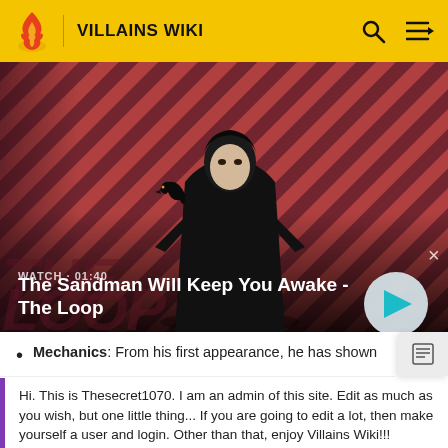VILLAINS WIKI
[Figure (screenshot): Video thumbnail for 'The Sandman Will Keep You Awake - The Loop' showing a dark-clad figure with a raven on their shoulder against a red and dark striped background. Shows WATCH · 01:40 label and a play button.]
Mechanics: From his first appearance, he has shown
Hi. This is Thesecret1070. I am an admin of this site. Edit as much as you wish, but one little thing... If you are going to edit a lot, then make yourself a user and login. Other than that, enjoy Villains Wiki!!!